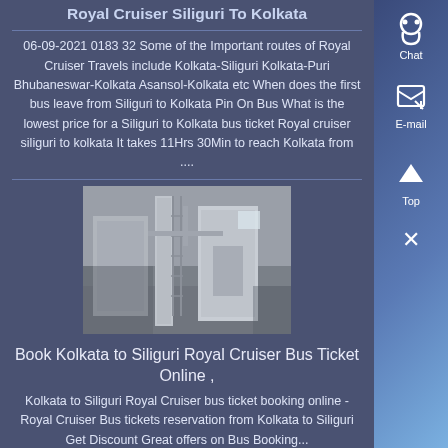Royal Cruiser Siliguri To Kolkata
06-09-2021 0183 32 Some of the Important routes of Royal Cruiser Travels include Kolkata-Siliguri Kolkata-Puri Bhubaneswar-Kolkata Asansol-Kolkata etc When does the first bus leave from Siliguri to Kolkata Pin On Bus What is the lowest price for a Siliguri to Kolkata bus ticket Royal cruiser siliguri to kolkata It takes 11Hrs 30Min to reach Kolkata from ....
[Figure (photo): Industrial building interior with machinery and scaffolding, grey tones]
Book Kolkata to Siliguri Royal Cruiser Bus Ticket Online ,
Kolkata to Siliguri Royal Cruiser bus ticket booking online - Royal Cruiser Bus tickets reservation from Kolkata to Siliguri Get Discount Great offers on Bus Booking...
Prev: how much does it cost to build a 15 sqm wall in